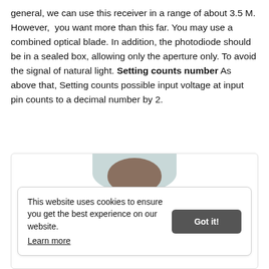general, we can use this receiver in a range of about 3.5 M. However, you want more than this far. You may use a combined optical blade. In addition, the photodiode should be in a sealed box, allowing only the aperture only. To avoid the signal of natural light. Setting counts number As above that, Setting counts possible input voltage at input pin counts to a decimal number by 2.
[Figure (photo): Partial view of a person's head/face photo inside a card area, partially obscured by a cookie consent banner overlay]
This website uses cookies to ensure you get the best experience on our website. Learn more